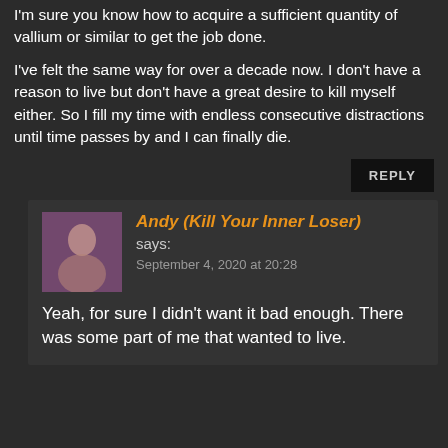I'm sure you know how to acquire a sufficient quantity of vallium or similar to get the job done.
I've felt the same way for over a decade now. I don't have a reason to live but don't have a great desire to kill myself either. So I fill my time with endless consecutive distractions until time passes by and I can finally die.
REPLY
Andy (Kill Your Inner Loser) says: September 4, 2020 at 20:28
Yeah, for sure I didn't want it bad enough. There was some part of me that wanted to live.